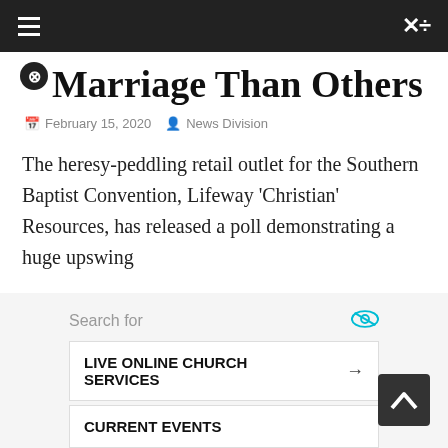≡  ×÷
Marriage Than Others
February 15, 2020   News Division
The heresy-peddling retail outlet for the Southern Baptist Convention, Lifeway 'Christian' Resources, has released a poll demonstrating a huge upswing
Read more
Search for
LIVE ONLINE CHURCH SERVICES
CURRENT EVENTS